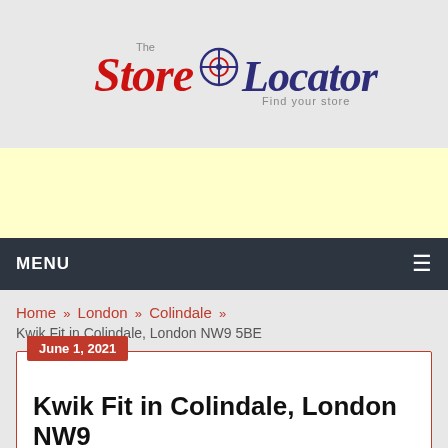[Figure (logo): The Store Locator logo - red cursive 'Store' text with a target/crosshair icon in navy blue and red, 'Locator' in navy blue, with tagline 'Find your store']
[Figure (other): Yellow advertisement banner placeholder]
MENU ☰
Home » London » Colindale »
Kwik Fit in Colindale, London NW9 5BE
Kwik Fit in Colindale, London NW9 5BE